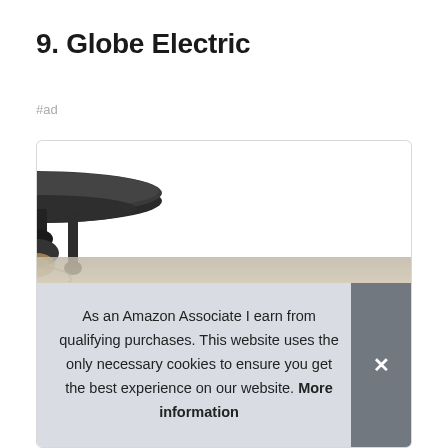9. Globe Electric
#ad
[Figure (photo): Globe Electric ceiling light fixture, dark bronze/black finish, flush mount, with glass globe shade partially visible, shown from below at an angle.]
As an Amazon Associate I earn from qualifying purchases. This website uses the only necessary cookies to ensure you get the best experience on our website. More information